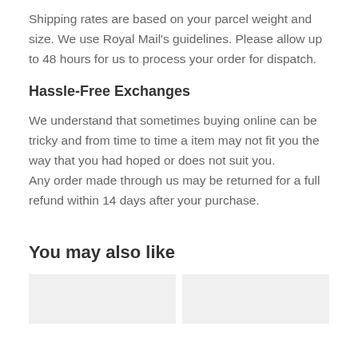Shipping rates are based on your parcel weight and size. We use Royal Mail's guidelines. Please allow up to 48 hours for us to process your order for dispatch.
Hassle-Free Exchanges
We understand that sometimes buying online can be tricky and from time to time a item may not fit you the way that you had hoped or does not suit you. Any order made through us may be returned for a full refund within 14 days after your purchase.
You may also like
[Figure (photo): Two image placeholders side by side]